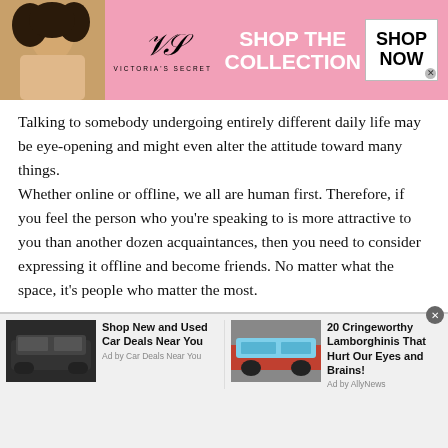[Figure (illustration): Victoria's Secret advertisement banner with a model photo on left, pink background, VS logo and 'SHOP THE COLLECTION' text, and 'SHOP NOW' button on right]
Talking to somebody undergoing entirely different daily life may be eye-opening and might even alter the attitude toward many things.
Whether online or offline, we all are human first. Therefore, if you feel the person who you're speaking to is more attractive to you than another dozen acquaintances, then you need to consider expressing it offline and become friends. No matter what the space, it's people who matter the most.
[Figure (illustration): Advertisement card for 'Shop New and Used Car Deals Near You' with a dark SUV image, Ad by Car Deals Near You]
[Figure (illustration): Advertisement card for '20 Cringeworthy Lamborghinis That Hurt Our Eyes and Brains!' with a colorful sports car image, Ad by AllyNews]